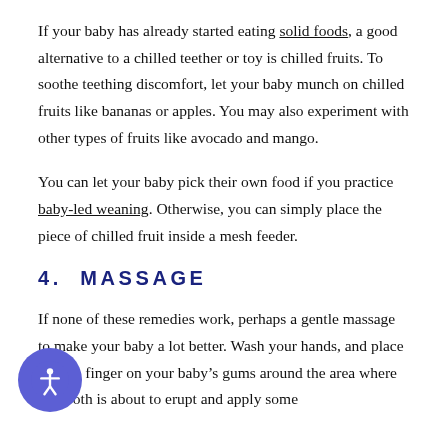If your baby has already started eating solid foods, a good alternative to a chilled teether or toy is chilled fruits. To soothe teething discomfort, let your baby munch on chilled fruits like bananas or apples. You may also experiment with other types of fruits like avocado and mango.
You can let your baby pick their own food if you practice baby-led weaning. Otherwise, you can simply place the piece of chilled fruit inside a mesh feeder.
4.  MASSAGE
If none of these remedies work, perhaps a gentle massage to make your baby a lot better. Wash your hands, and place a clean finger on your baby's gums around the area where the tooth is about to erupt and apply some